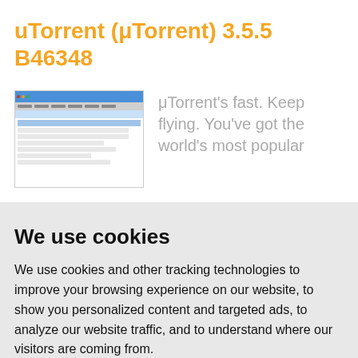uTorrent (μTorrent) 3.5.5 B46348
[Figure (screenshot): Screenshot of the uTorrent desktop application interface showing toolbar, menu bar, and download list]
μTorrent's fast. Keep flying. You've got the world's most popular
We use cookies
We use cookies and other tracking technologies to improve your browsing experience on our website, to show you personalized content and targeted ads, to analyze our website traffic, and to understand where our visitors are coming from.
I agree   Change my preferences